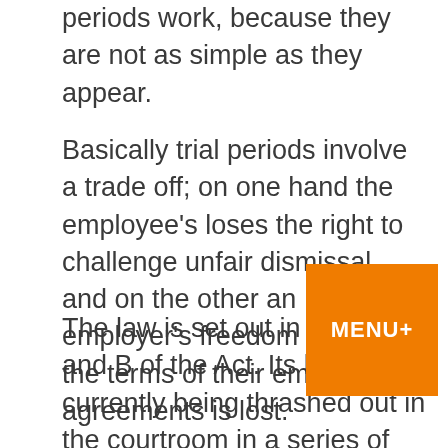periods work, because they are not as simple as they appear.
Basically trial periods involve a trade off; on one hand the employee's loses the right to challenge unfair dismissal, and on the other an employer's freedom in drafting the terms of their employment agreements is lost.
The law is set out in ss 67A and B of the Act. Its limits are currently being thrashed out in the courtroom in a series of cases: Smith v Stokes, Parkes v Squires Manufacturing, and Blackmore v Honnick Properties. In all of these cases the Courts are making it clear that if the law isn't followed to the